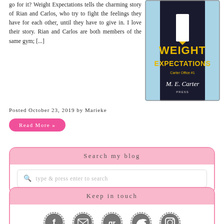go for it? Weight Expectations tells the charming story of Rian and Carlos, who try to fight the feelings they have for each other, until they have to give in. I love their story. Rian and Carlos are both members of the same gym; [...]
[Figure (illustration): Book cover for 'Weight Expectations' by M.E. Carter showing a figure in a black jacket with yellow tie on a light blue background]
Posted October 23, 2019 by Marieke
Read More »
Search my blog
type & press enter to search
Keep in touch
[Figure (infographic): Social media icons: Facebook, Email, Goodreads, Twitter, Instagram — all in dark gray circular dashed borders]